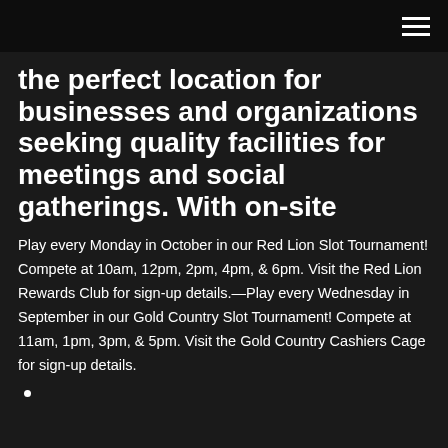[hamburger menu icon]
the perfect location for businesses and organizations seeking quality facilities for meetings and social gatherings. With on-site
Play every Monday in October in our Red Lion Slot Tournament! Compete at 10am, 12pm, 2pm, 4pm, & 6pm. Visit the Red Lion Rewards Club for sign-up details.—Play every Wednesday in September in our Gold Country Slot Tournament! Compete at 11am, 1pm, 3pm, & 5pm. Visit the Gold Country Cashiers Cage for sign-up details.
•